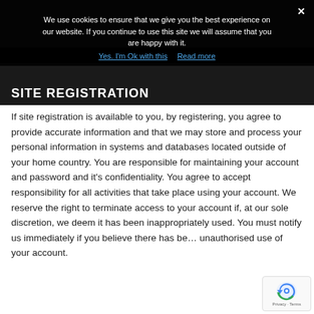We use cookies to ensure that we give you the best experience on our website. If you continue to use this site we will assume that you are happy with it.
Yes. I'm Ok with this   Read more
SITE REGISTRATION
If site registration is available to you, by registering, you agree to provide accurate information and that we may store and process your personal information in systems and databases located outside of your home country. You are responsible for maintaining your account and password and it's confidentiality. You agree to accept responsibility for all activities that take place using your account. We reserve the right to terminate access to your account if, at our sole discretion, we deem it has been inappropriately used. You must notify us immediately if you believe there has been unauthorised use of your account.